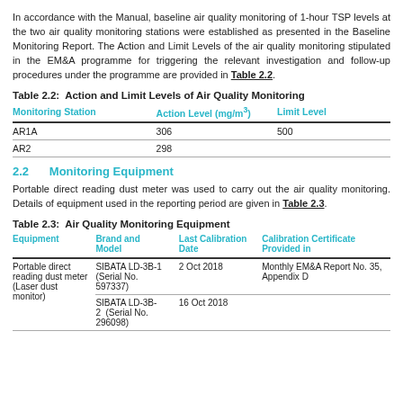In accordance with the Manual, baseline air quality monitoring of 1-hour TSP levels at the two air quality monitoring stations were established as presented in the Baseline Monitoring Report. The Action and Limit Levels of the air quality monitoring stipulated in the EM&A programme for triggering the relevant investigation and follow-up procedures under the programme are provided in Table 2.2.
Table 2.2:  Action and Limit Levels of Air Quality Monitoring
| Monitoring Station | Action Level (mg/m3) | Limit Level |
| --- | --- | --- |
| AR1A | 306 | 500 |
| AR2 | 298 |  |
2.2    Monitoring Equipment
Portable direct reading dust meter was used to carry out the air quality monitoring. Details of equipment used in the reporting period are given in Table 2.3.
Table 2.3:  Air Quality Monitoring Equipment
| Equipment | Brand and Model | Last Calibration Date | Calibration Certificate Provided in |
| --- | --- | --- | --- |
| Portable direct reading dust meter (Laser dust monitor) | SIBATA LD-3B-1 (Serial No. 597337) | 2 Oct 2018 | Monthly EM&A Report No. 35, Appendix D |
|  | SIBATA LD-3B-2  (Serial No. 296098) | 16 Oct 2018 |  |